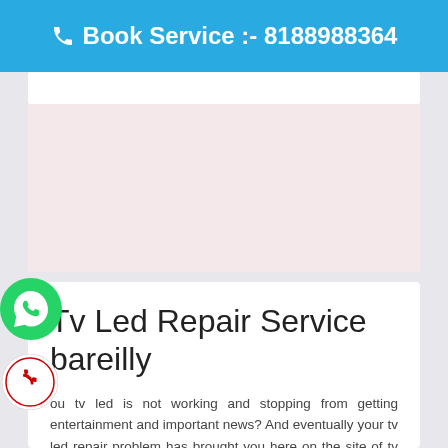📞 Book Service :- 8188988364
[Figure (other): White strip banner area below the blue header]
[Figure (other): Pink/light advertisement area placeholder]
Tv Led Repair Service bareilly
ou tv led is not working and stopping from getting entertainment and important news? And eventually your tv led repair problem has brought you here on the site of tv led repair service provider to get an
[Figure (other): WhatsApp floating button (green circle with phone icon)]
[Figure (other): Call floating button (white circle with red phone icon)]